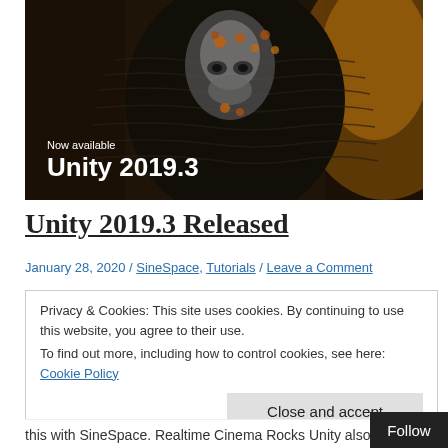[Figure (photo): Dark fantasy creature/mask with metallic and organic textures on dark background, with text overlay 'Now available' and 'Unity 2019.3' in white]
Unity 2019.3 Released
January 28, 2020 / SineSpace, Tutorials / Leave a Comment
Privacy & Cookies: This site uses cookies. By continuing to use this website, you agree to their use. To find out more, including how to control cookies, see here: Cookie Policy
Close and accept
this with SineSpace. Realtime Cinema Rocks Unity also rec